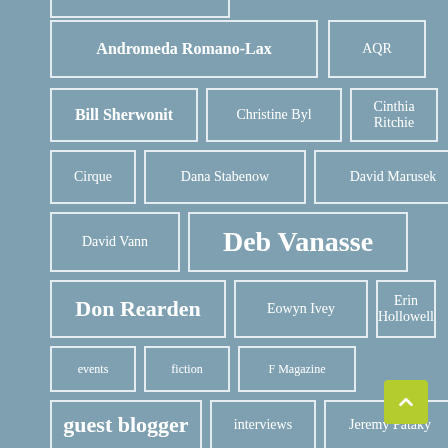Andromeda Romano-Lax
AQR
Bill Sherwonit
Christine Byl
Cinthia Ritchie
Cirque
Dana Stabenow
David Marusek
David Vann
Deb Vanasse
Don Rearden
Eowyn Ivey
Erin Hollowell
events
fiction
F Magazine
guest blogger
interviews
Jeremy Pataky
Joan Kane
John Morgan
John Straley
Kachemak Bay Writers' Conference
Kris Farmen
Marybeth Holleman